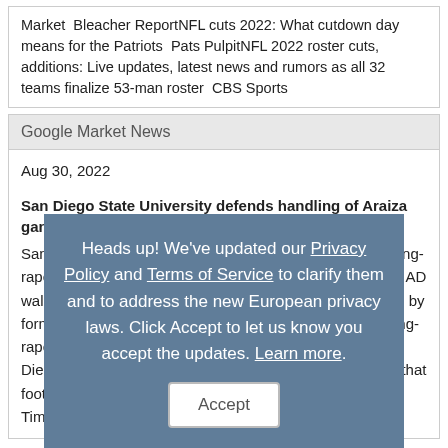Market  Bleacher ReportNFL cuts 2022: What cutdown day means for the Patriots  Pats PulpitNFL 2022 roster cuts, additions: Live updates, latest news and rumors as all 32 teams finalize 53-man roster  CBS Sports
Google Market News
Aug 30, 2022
San Diego State University defends handling of Araiza gang-rape allegation - New York Post
San Diego State University defends handling of Araiza gang-rape allegation  New York Post SDSU coach Brady Hoke, AD walk out of conference amid questions about alleged rape by former players  Yahoo SportsQuestions about alleged gang-rape dominate SDSU Aztecs football briefing  CBS 8 San DiegoSDSU athletic director says it's 'absolutely not true' that football program ignored rape allegations  Los Angeles TimesSDSU AD, football coach address ha…
Heads up! We've updated our Privacy Policy and Terms of Service to clarify them and to address the new European privacy laws. Click Accept to let us know you accept the updates. Learn more.
Accept